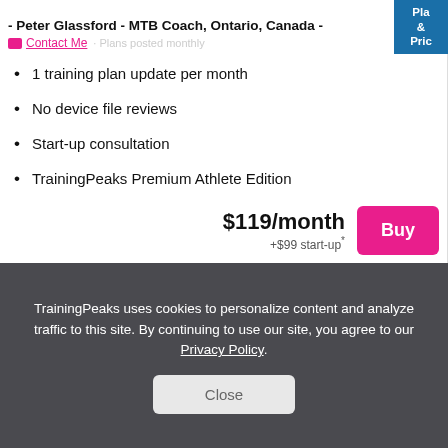- Peter Glassford - MTB Coach, Ontario, Canada -
1 training plan update per month
No device file reviews
Start-up consultation
TrainingPeaks Premium Athlete Edition
30 day money back guarantee
$119/month +$99 start-up*
TrainingPeaks uses cookies to personalize content and analyze traffic to this site. By continuing to use our site, you agree to our Privacy Policy.